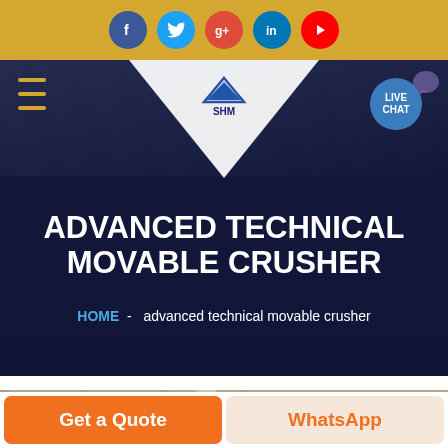[Figure (screenshot): Golden top bar with social media icons: Facebook (blue), Twitter (light blue), Google+ (red), LinkedIn (blue), YouTube (red)]
[Figure (screenshot): SHM company website header with hamburger menu, logo (white triangle with SHM logo), and LIVE CHAT button on dark navy background with hands/document background photo]
ADVANCED TECHNICAL MOVABLE CRUSHER
HOME  -  advanced technical movable crusher
[Figure (photo): Partial photo of industrial/warehouse interior, sepia-toned, showing structural beams and lighting]
Get a Quote
WhatsApp